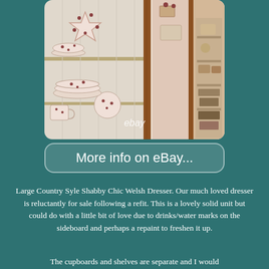[Figure (photo): Photo of a large country style shabby chic Welsh dresser showing shelves with spotted/patterned ceramic dishes, plates, bowls, and a star-shaped item on the upper shelf. The right side shows a glimpse through a glass-paned door into another room with shelving. An 'ebay' watermark is visible at the bottom of the image.]
More info on eBay...
Large Country Syle Shabby Chic Welsh Dresser. Our much loved dresser is reluctantly for sale following a refit. This is a lovely solid unit but could do with a little bit of love due to drinks/water marks on the sideboard and perhaps a repaint to freshen it up.
The cupboards and shelves are separate and I would